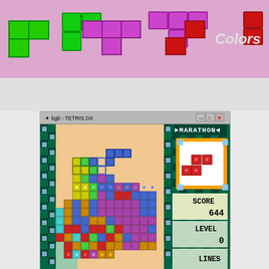[Figure (screenshot): Top section showing Tetris pieces (green L-shape, purple T-shape, red S-shape) on pink background with 'Colors' label in white text]
[Figure (screenshot): Screenshot of BGB - TETRIS DX emulator window showing a Tetris DX game in progress. The game board shows colorful stacked Tetris blocks (cyan, blue, orange, yellow, green, red, purple). Right panel shows MARATHON mode, a preview piece (S-piece in red), SCORE: 644, LEVEL: 0, LINES at the bottom. Teal/dark green checkerboard decorative borders surround the board.]